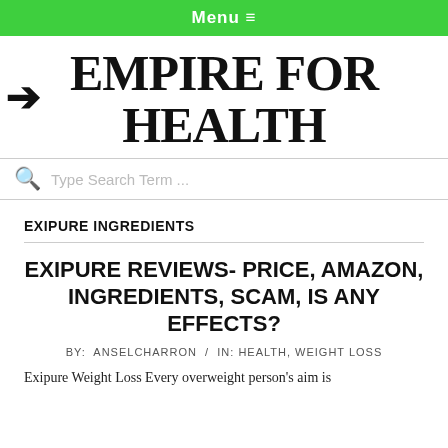Menu ≡
EMPIRE FOR HEALTH
Type Search Term ...
EXIPURE INGREDIENTS
EXIPURE REVIEWS- PRICE, AMAZON, INGREDIENTS, SCAM, IS ANY EFFECTS?
BY: ANSELCHARRON / IN: HEALTH, WEIGHT LOSS
Exipure Weight Loss Every overweight person's aim is